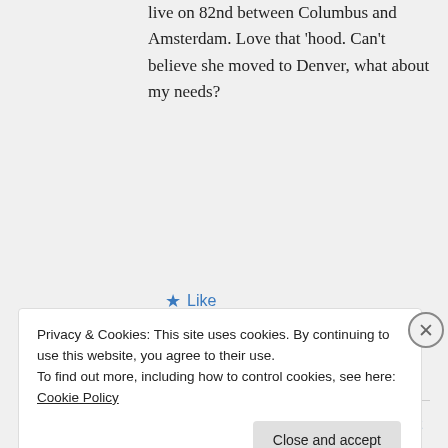live on 82nd between Columbus and Amsterdam. Love that ‘hood. Can’t believe she moved to Denver, what about my needs?
★ Like
↪ Reply
lameadventures on August 15, 2012 at 4:51 pm
Privacy & Cookies: This site uses cookies. By continuing to use this website, you agree to their use.
To find out more, including how to control cookies, see here: Cookie Policy
Close and accept